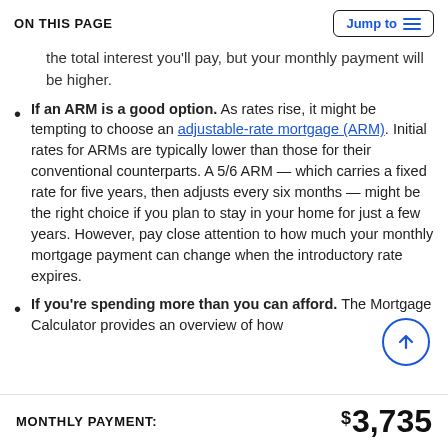ON THIS PAGE  |  Jump to
the total interest you'll pay, but your monthly payment will be higher.
If an ARM is a good option. As rates rise, it might be tempting to choose an adjustable-rate mortgage (ARM). Initial rates for ARMs are typically lower than those for their conventional counterparts. A 5/6 ARM — which carries a fixed rate for five years, then adjusts every six months — might be the right choice if you plan to stay in your home for just a few years. However, pay close attention to how much your monthly mortgage payment can change when the introductory rate expires.
If you're spending more than you can afford. The Mortgage Calculator provides an overview of how...
MONTHLY PAYMENT:  $3,735